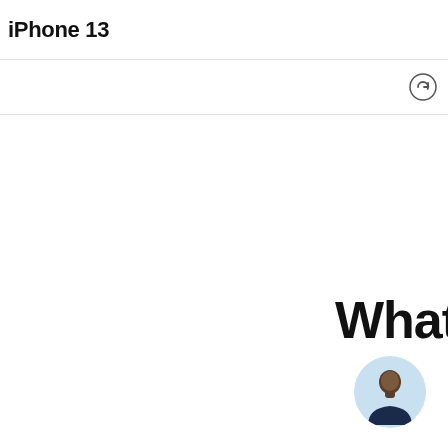iPhone 13
[Figure (other): Navigation icon (circular arrow/refresh icon) in the top-right of the navigation bar]
What
[Figure (photo): Circular avatar photo of a man with a light blue background, wearing a dark navy shirt]